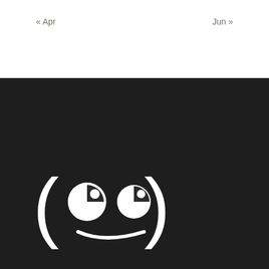« Apr
Jun »
[Figure (logo): Kaomoji logo: a white kawaii face made of parentheses forming eyes with white pupils on dark background, with a smiling underline mouth, followed by the word 'kaomoji' with a registered trademark symbol]
[Figure (logo): AMV Netherlands logo with pixelated orange/red rectangular sign and square pixel decorations on dark background]